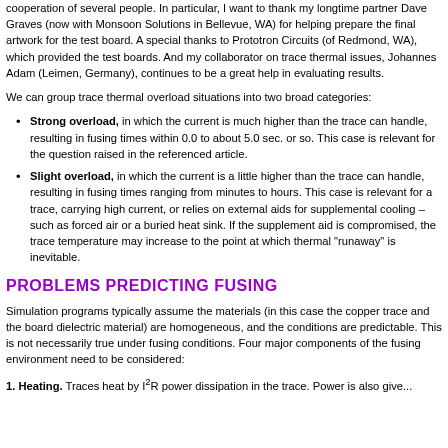cooperation of several people. In particular, I want to thank my longtime partner Dave Graves (now with Monsoon Solutions in Bellevue, WA) for helping prepare the final artwork for the test board. A special thanks to Prototron Circuits (of Redmond, WA), which provided the test boards. And my collaborator on trace thermal issues, Johannes Adam (Leimen, Germany), continues to be a great help in evaluating results.
We can group trace thermal overload situations into two broad categories:
Strong overload, in which the current is much higher than the trace can handle, resulting in fusing times within 0.0 to about 5.0 sec. or so. This case is relevant for the question raised in the referenced article.
Slight overload, in which the current is a little higher than the trace can handle, resulting in fusing times ranging from minutes to hours. This case is relevant for a trace, carrying high current, or relies on external aids for supplemental cooling – such as forced air or a buried heat sink. If the supplement aid is compromised, the trace temperature may increase to the point at which thermal "runaway" is inevitable.
PROBLEMS PREDICTING FUSING
Simulation programs typically assume the materials (in this case the copper trace and the board dielectric material) are homogeneous, and the conditions are predictable. This is not necessarily true under fusing conditions. Four major components of the fusing environment need to be considered:
1. Heating. Traces heat by I2R power dissipation in the trace. Power is also give...